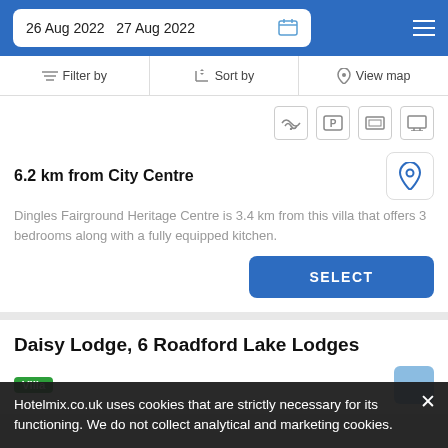26 Aug 2022  27 Aug 2022
Filter by  |  Sort by  |  View map
6.2 km from City Centre
Dingles Fairground Heritage Centre is 3.4 km from this villa that offers 3 bedrooms along with a fully equipped kitchen.
SELECT
Daisy Lodge, 6 Roadford Lake Lodges
Villa
Hotelmix.co.uk uses cookies that are strictly necessary for its functioning. We do not collect analytical and marketing cookies.